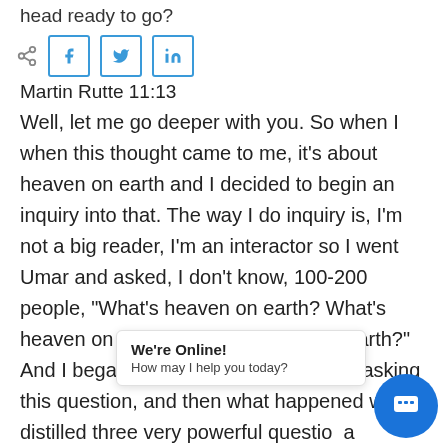head ready to go?
[Figure (other): Social share icons: share, Facebook, Twitter, LinkedIn]
Martin Rutte 11:13
Well, let me go deeper with you. So when I when this thought came to me, it's about heaven on earth and I decided to begin an inquiry into that. The way I do inquiry is, I'm not a big reader, I'm an interactor so I went Umar and asked, I don't know, 100-200 people, "What's heaven on earth? What's heaven on earth? What's heaven on earth?" And I began to see the lay of the land, asking this question, and then what happened was I distilled three very powerful questio... a And with your permission, I'd like to ask you
We're Online! How may I help you today?